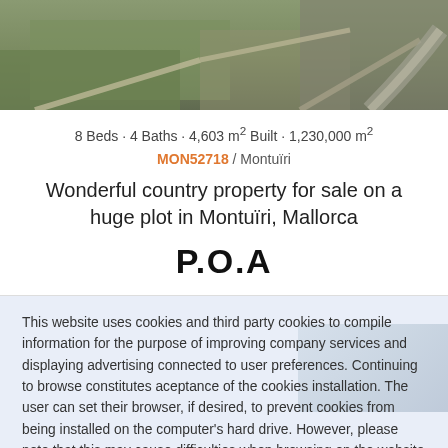[Figure (photo): Aerial/overhead photo of green countryside with stone walls and a road, cropped at top]
8 Beds · 4 Baths · 4,603 m² Built · 1,230,000 m²
MON52718 / Montuïri
Wonderful country property for sale on a huge plot in Montuïri, Mallorca
P.O.A
This website uses cookies and third party cookies to compile information for the purpose of improving company services and displaying advertising connected to user preferences. Continuing to browse constitutes aceptance of the cookies installation. The user can set their browser, if desired, to prevent cookies from being installed on the computer's hard drive. However, please note that this may cause difficulties when browsing on the website  Accept cookies  More Info